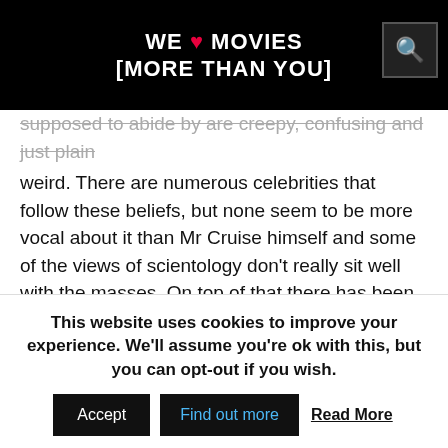WE ♥ MOVIES [MORE THAN YOU]
supposed to abide by are creepy, confusing and just plain weird. There are numerous celebrities that follow these beliefs, but none seem to be more vocal about it than Mr Cruise himself and some of the views of scientology don't really sit well with the masses. On top of that there has been a lot of damaging rumours and incidences surrounding Cruise, such as his sexuality, whether his Kidman marriage was a sham, his rocky divorce to Katie Holmes and let us not forget the infamous moment he declared his love for the latter.
Anyone of those elements should have been enough to
This website uses cookies to improve your experience. We'll assume you're ok with this, but you can opt-out if you wish.
Accept  Find out more  Read More